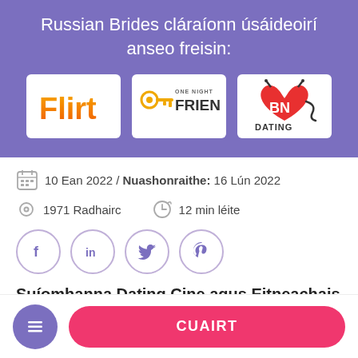Russian Brides cláraíonn úsáideoirí anseo freisin:
[Figure (logo): Flirt logo - orange gradient text]
[Figure (logo): OneNight Friend logo - key icon with text]
[Figure (logo): BN Dating logo - red heart with BN text]
10 Ean 2022 / Nuashonraithe: 16 Lún 2022
1971 Radhairc
12 min léite
[Figure (infographic): Social share buttons: Facebook, LinkedIn, Twitter, Pinterest]
Suíomhanna Dating Cine agus Eitneachais
CUAIRT